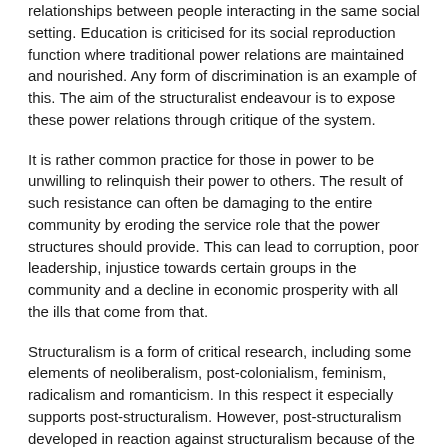relationships between people interacting in the same social setting. Education is criticised for its social reproduction function where traditional power relations are maintained and nourished. Any form of discrimination is an example of this. The aim of the structuralist endeavour is to expose these power relations through critique of the system.
It is rather common practice for those in power to be unwilling to relinquish their power to others. The result of such resistance can often be damaging to the entire community by eroding the service role that the power structures should provide. This can lead to corruption, poor leadership, injustice towards certain groups in the community and a decline in economic prosperity with all the ills that come from that.
Structuralism is a form of critical research, including some elements of neoliberalism, post-colonialism, feminism, radicalism and romanticism. In this respect it especially supports post-structuralism. However, post-structuralism developed in reaction against structuralism because of the latter's view that structures can be discovered, and its insistence on rigid power relations between the parts of the structure (post-structuralism questions the role of structure in human interaction).